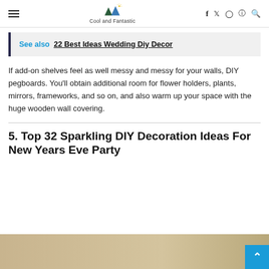Cool and Fantastic — navigation header with hamburger menu, logo, and social icons
See also 22 Best Ideas Wedding Diy Decor
If add-on shelves feel as well messy and messy for your walls, DIY pegboards. You'll obtain additional room for flower holders, plants, mirrors, frameworks, and so on, and also warm up your space with the huge wooden wall covering.
5. Top 32 Sparkling DIY Decoration Ideas For New Years Eve Party
[Figure (photo): Bottom portion of a decorative image with beige/gold tones, partially visible]